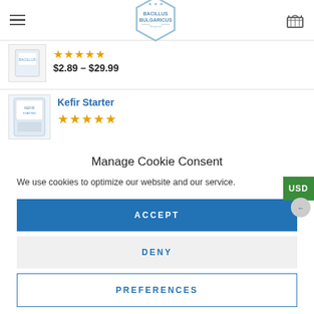[Figure (logo): Bacillus Bulgaricus hexagonal logo with stars]
[Figure (photo): Product thumbnail - small white package]
$2.89 – $29.99
[Figure (photo): Kefir Starter product thumbnail]
Kefir Starter
Manage Cookie Consent
We use cookies to optimize our website and our service.
ACCEPT
DENY
PREFERENCES